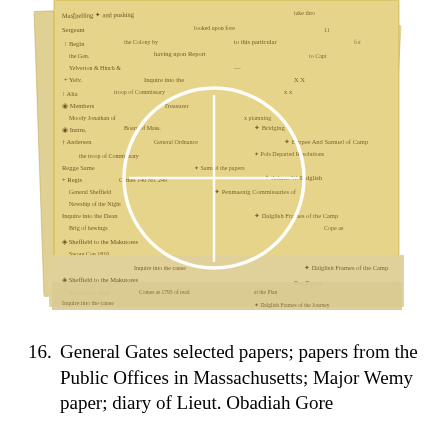[Figure (photo): Overlapping layers of aged historical manuscript documents with handwritten cursive text, yellowed/sepia toned paper. A white circle with crosshairs highlights a section of the topmost document. Multiple layers of similar handwritten documents are visible beneath.]
16.  General Gates selected papers; papers from the Public Offices in Massachusetts; Major Wemy paper; diary of Lieut. Obadiah Gore